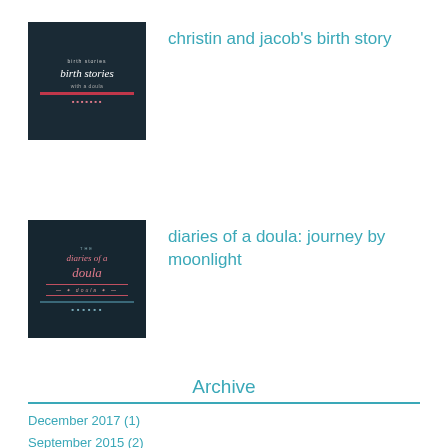[Figure (illustration): Book cover thumbnail for 'birth stories' with dark teal background and white italic text]
christin and jacob's birth story
[Figure (illustration): Book cover thumbnail for 'diaries of a doula' with dark teal background and pink italic text]
diaries of a doula: journey by moonlight
Archive
December 2017 (1)
September 2015 (2)
August 2015 (3)
March 2015 (1)
February 2015 (1)
January 2015 (15)